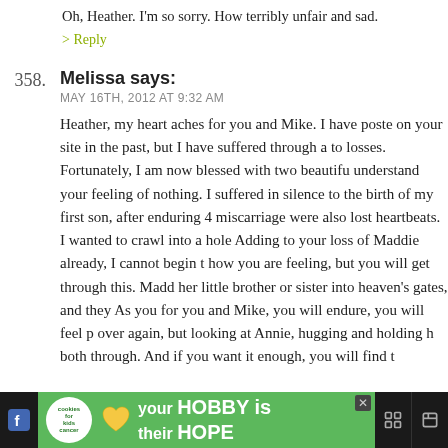Oh, Heather. I'm so sorry. How terribly unfair and sad.
> Reply
358. Melissa says:
MAY 16TH, 2012 AT 9:32 AM
Heather, my heart aches for you and Mike. I have posted on your site in the past, but I have suffered through a to losses. Fortunately, I am now blessed with two beautifu understand your feeling of nothing. I suffered in silence to the birth of my first son, after enduring 4 miscarriage were also lost heartbeats. I wanted to crawl into a hole Adding to your loss of Maddie already, I cannot begin t how you are feeling, but you will get through this. Madd her little brother or sister into heaven's gates, and they As you for you and Mike, you will endure, you will feel p over again, but looking at Annie, hugging and holding h both through. And if you want it enough, you will find t
[Figure (advertisement): Green ad banner with cookies for kids cancer logo and 'your HOBBY is their HOPE' text]